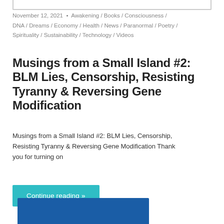November 12, 2021  •  Awakening / Books / Consciousness / DNA / Dreams / Economy / Health / News / Paranormal / Poetry / Spirituality / Sustainability / Technology / Videos
Musings from a Small Island #2: BLM Lies, Censorship, Resisting Tyranny & Reversing Gene Modification
Musings from a Small Island #2: BLM Lies, Censorship, Resisting Tyranny & Reversing Gene Modification Thank you for turning on
Continue reading »
[Figure (photo): Blue image at bottom of page, partially visible]